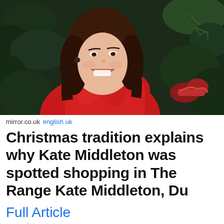[Figure (photo): Woman in red puffer jacket smiling, with Christmas tree greenery in background, holding a red-ribboned item]
mirror.co.uk english uk
Christmas tradition explains why Kate Middleton was spotted shopping in The Range Kate Middleton, Du
Full Article
8 months
[Figure (photo): Kate Middleton in white bridal headpiece beside a man in dark military uniform cap]